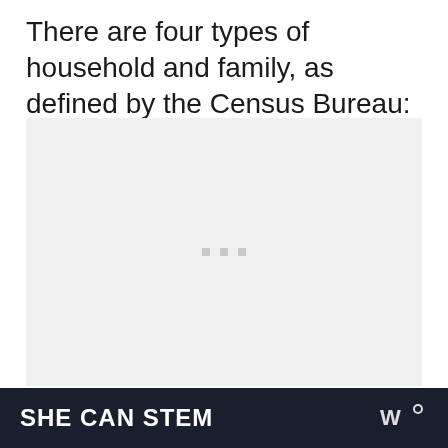There are four types of household and family, as defined by the Census Bureau:
[Figure (other): Large placeholder image area with light gray background and three small gray squares centered, indicating loading or embedded content area]
SHE CAN STEM